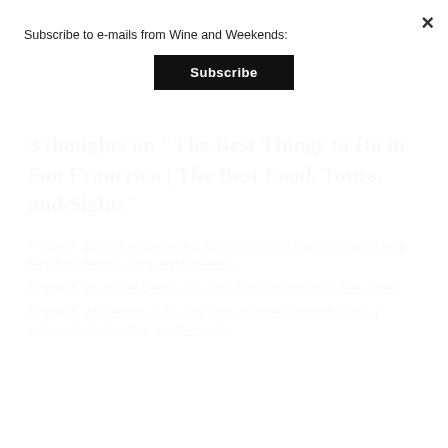Subscribe to e-mails from Wine and Weekends:
Subscribe
3 thoughts on “The Best Things to Do in San Francisco | The Best Food, Tours, and Sights”
Pingback: Springfield Distillery & Springfield 1842 Cabins | Halifax VA’s Best Kept Secret | Wine and Weekends
Pingback: Inn on the Beach | The Best Place to Stay in St. Pete Beach
Pingback: A Reflection of My First Year of Travel Blogging & Why I continue to do it | Wine and Weekends